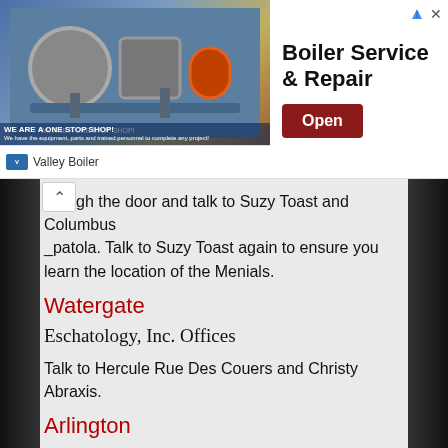[Figure (infographic): Advertisement banner for Valley Boiler - Boiler Service & Repair with an Open button]
hrough the door and talk to Suzy Toast and Columbus _patola. Talk to Suzy Toast again to ensure you learn the location of the Menials.
Watergate
Eschatology, Inc. Offices
Talk to Hercule Rue Des Couers and Christy Abraxis.
Arlington
Resurrections Unlimited
Talk to the technician, then go through the door and save your game. Use the mechanic's creeper on the floor, then survive an arcade sequence where you must avoid laser beams. At the other end of the corridor, examine the resurrection units to see a body with a tattoo on its chest.